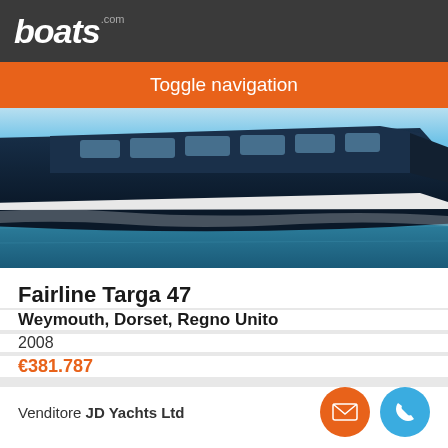boats.com
Toggle navigation
[Figure (photo): A dark-hulled luxury motor yacht (Fairline Targa 47) on water, shot from the side showing the bow and lower hull against blue/teal water with sky in background.]
Fairline Targa 47
Weymouth, Dorset, Regno Unito
2008
€381.787
Venditore JD Yachts Ltd
pubblicità
Ordina Per
Filtra Ricerca